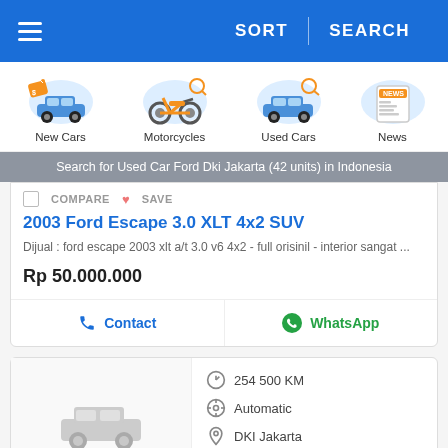≡  SORT  |  SEARCH
[Figure (screenshot): Category icons row: New Cars, Motorcycles, Used Cars, News]
Search for Used Car Ford Dki Jakarta (42 units) in Indonesia
COMPARE  ♥ SAVE
2003 Ford Escape 3.0 XLT 4x2 SUV
Dijual : ford escape 2003 xlt a/t 3.0 v6 4x2 - full orisinil - interior sangat ...
Rp 50.000.000
Contact  WhatsApp
254 500 KM  Automatic  DKI Jakarta  Broker ✓